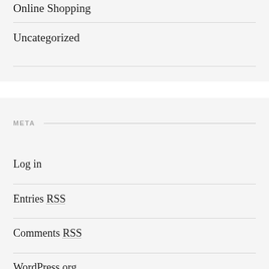Online Shopping
Uncategorized
META
Log in
Entries RSS
Comments RSS
WordPress.org